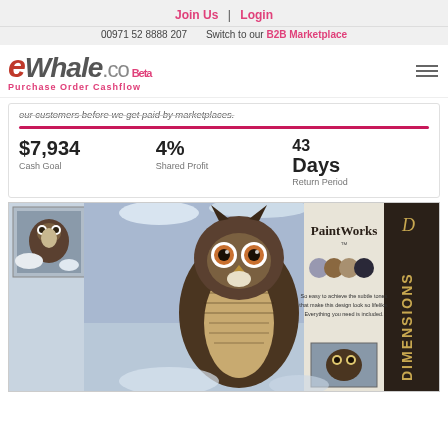Join Us | Login
00971 52 8888 207   Switch to our B2B Marketplace
[Figure (logo): eWhale.co logo with Beta label and 'Purchase Order Cashflow' tagline]
our customers before we get paid by marketplaces.
43 Days Return Period   $7,934 Cash Goal   4% Shared Profit
[Figure (photo): PaintWorks Dimensions paint-by-number kit featuring a great horned owl in winter scene, with product box showing DIMENSIONS branding on the right side]